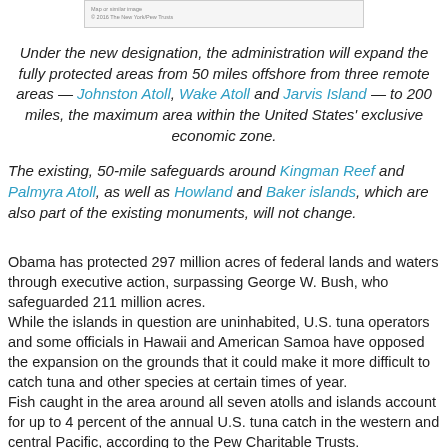[Figure (other): Small image thumbnail with caption text at top of page]
Under the new designation, the administration will expand the fully protected areas from 50 miles offshore from three remote areas — Johnston Atoll, Wake Atoll and Jarvis Island — to 200 miles, the maximum area within the United States' exclusive economic zone. The existing, 50-mile safeguards around Kingman Reef and Palmyra Atoll, as well as Howland and Baker islands, which are also part of the existing monuments, will not change.
Obama has protected 297 million acres of federal lands and waters through executive action, surpassing George W. Bush, who safeguarded 211 million acres. While the islands in question are uninhabited, U.S. tuna operators and some officials in Hawaii and American Samoa have opposed the expansion on the grounds that it could make it more difficult to catch tuna and other species at certain times of year. Fish caught in the area around all seven atolls and islands account for up to 4 percent of the annual U.S. tuna catch in the western and central Pacific, according to the Pew Charitable Trusts.